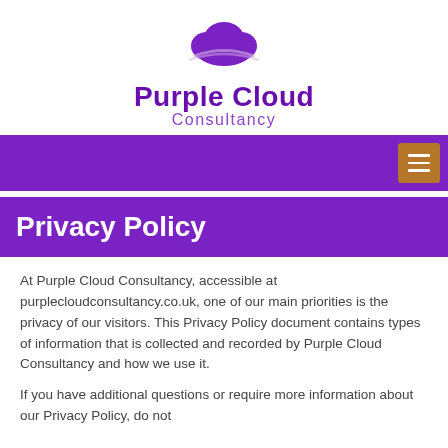[Figure (logo): Purple Cloud Consultancy logo — purple cloud icon above the text 'Purple Cloud' in bold purple and 'Consultancy' in lighter purple below]
Privacy Policy
At Purple Cloud Consultancy, accessible at purplecloudconsultancy.co.uk, one of our main priorities is the privacy of our visitors. This Privacy Policy document contains types of information that is collected and recorded by Purple Cloud Consultancy and how we use it.
If you have additional questions or require more information about our Privacy Policy, do not